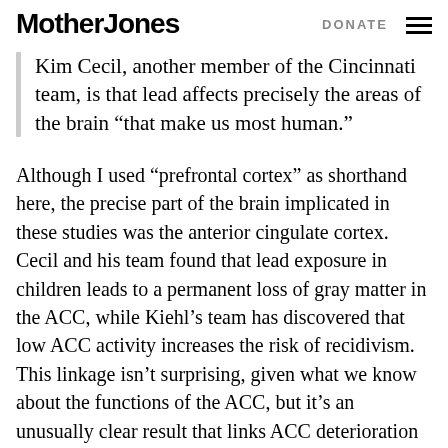Mother Jones   DONATE
Kim Cecil, another member of the Cincinnati team, is that lead affects precisely the areas of the brain “that make us most human.”
Although I used “prefrontal cortex” as shorthand here, the precise part of the brain implicated in these studies was the anterior cingulate cortex. Cecil and his team found that lead exposure in children leads to a permanent loss of gray matter in the ACC, while Kiehl’s team has discovered that low ACC activity increases the risk of recidivism. This linkage isn’t surprising, given what we know about the functions of the ACC, but it’s an unusually clear result that links ACC deterioration to criminal